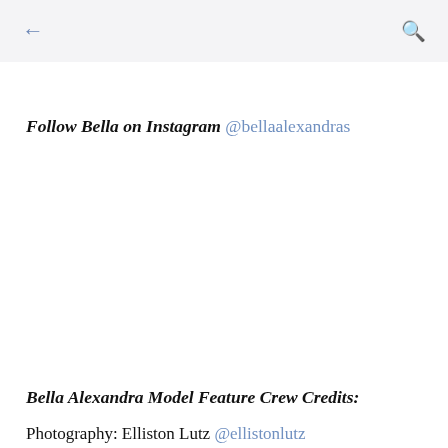← (back arrow)  🔍 (search icon)
Follow Bella on Instagram @bellaalexandras
Bella Alexandra Model Feature Crew Credits:
Photography: Elliston Lutz @ellistonlutz